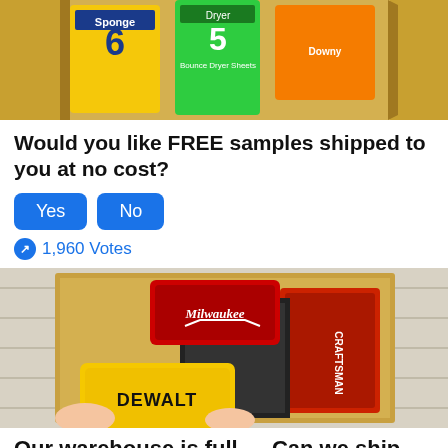[Figure (photo): Photo of colorful product sample boxes (yellow, green, orange) in a cardboard box]
Would you like FREE samples shipped to you at no cost?
Yes
No
1,960 Votes
[Figure (photo): Photo of Milwaukee and DeWalt tool cases and Craftsman tools in a cardboard box]
Our warehouse is full — Can we ship you a FREE tool sample?